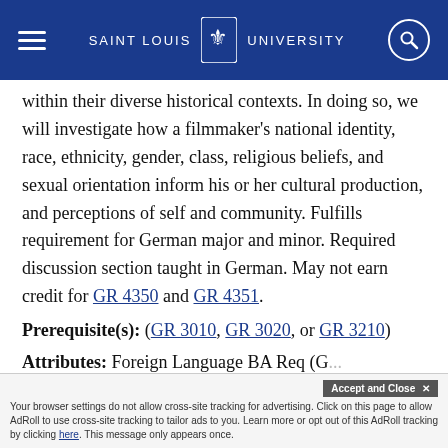SAINT LOUIS UNIVERSITY
within their diverse historical contexts. In doing so, we will investigate how a filmmaker's national identity, race, ethnicity, gender, class, religious beliefs, and sexual orientation inform his or her cultural production, and perceptions of self and community. Fulfills requirement for German major and minor. Required discussion section taught in German. May not earn credit for GR 4350 and GR 4351.
Prerequisite(s): (GR 3010, GR 3020, or GR 3210)
Attributes: Foreign Language BA Req (G...)
Your browser settings do not allow cross-site tracking for advertising. Click on this page to allow AdRoll to use cross-site tracking to tailor ads to you. Learn more or opt out of this AdRoll tracking by clicking here. This message only appears once.